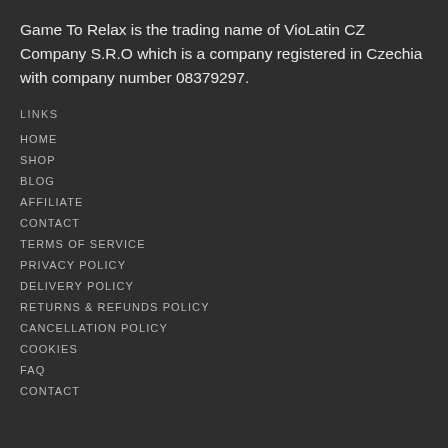Game To Relax is the trading name of VioLatin CZ Company S.R.O which is a company registered in Czechia with company number 08379297.
LINKS
HOME
SHOP
BLOG
AFFILIATE
CONTACT
TERMS OF SERVICE
PRIVACY POLICY
DELIVERY POLICY
RETURNS & REFUNDS POLICY
CANCELLATION POLICY
COOKIES
FAQ
CONTACT